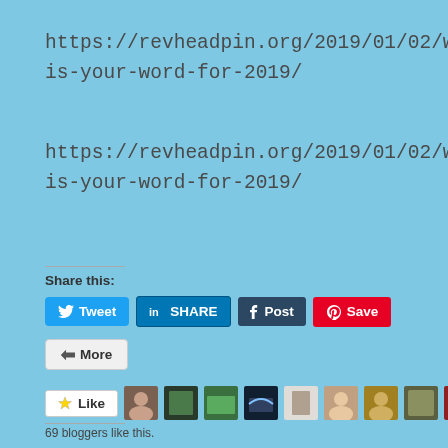https://revheadpin.org/2019/01/02/what-is-your-word-for-2019/
https://revheadpin.org/2019/01/02/what-is-your-word-for-2019/
Share this:
[Figure (screenshot): Social share buttons: Tweet (Twitter), SHARE (LinkedIn), Post (Tumblr), Save (Pinterest), More]
[Figure (screenshot): Like button and 9 blogger avatar thumbnails. 69 bloggers like this.]
69 bloggers like this.